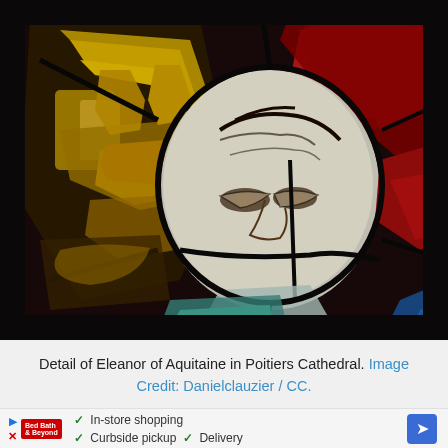[Figure (photo): Close-up detail of a stained glass window depicting Eleanor of Aquitaine in Poitiers Cathedral. The image shows a face with painted features in white/grey glass surrounded by deep red, gold/yellow decorative elements, and dark lead lines forming the traditional stained glass patterns.]
Detail of Eleanor of Aquitaine in Poitiers Cathedral. Image Credit: Danielclauzier / CC.